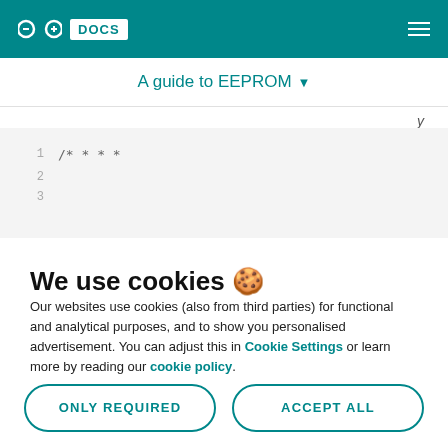Arduino DOCS — navigation header
A guide to EEPROM
[Figure (screenshot): Code editor showing line numbers 1 and 2 with comment block starting /* * * *]
We use cookies 🍪
Our websites use cookies (also from third parties) for functional and analytical purposes, and to show you personalised advertisement. You can adjust this in Cookie Settings or learn more by reading our cookie policy.
ONLY REQUIRED | ACCEPT ALL